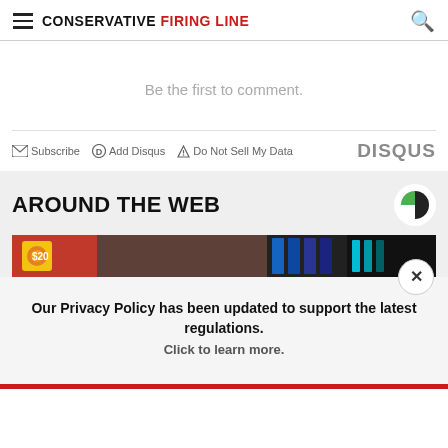CONSERVATIVE FIRING LINE
Be the first to comment.
Subscribe  Add Disqus  Do Not Sell My Data  DISQUS
AROUND THE WEB
[Figure (photo): Colorful gaming/slot machine image strip]
Our Privacy Policy has been updated to support the latest regulations. Click to learn more.